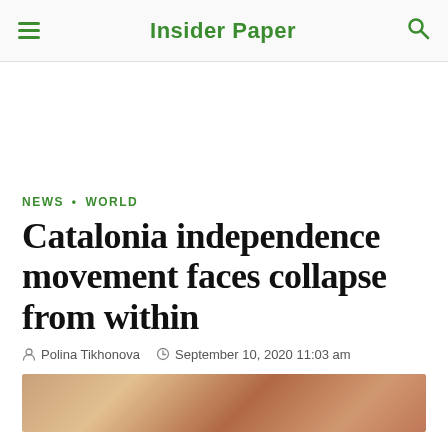Insider Paper
NEWS • WORLD
Catalonia independence movement faces collapse from within
Polina Tikhonova   September 10, 2020 11:03 am
[Figure (photo): Partial photo strip at bottom of article, showing warm red/tan tones, likely a crowd or building scene related to Catalonia.]